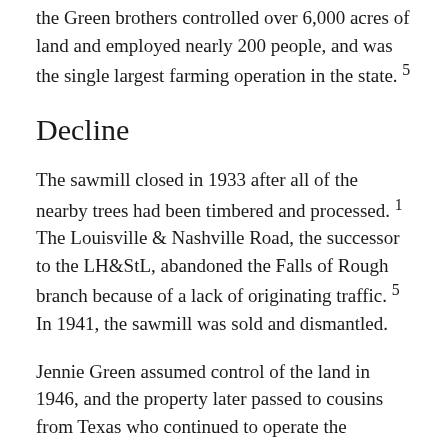the Green brothers controlled over 6,000 acres of land and employed nearly 200 people, and was the single largest farming operation in the state. 5
Decline
The sawmill closed in 1933 after all of the nearby trees had been timbered and processed. 1 The Louisville & Nashville Road, the successor to the LH&StL, abandoned the Falls of Rough branch because of a lack of originating traffic. 5 In 1941, the sawmill was sold and dismantled.
Jennie Green assumed control of the land in 1946, and the property later passed to cousins from Texas who continued to operate the gristmill until 1965.